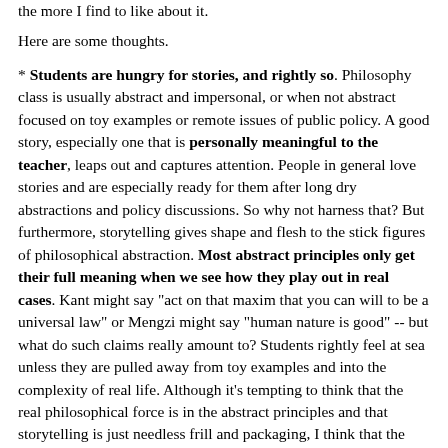the more I find to like about it.
Here are some thoughts.
* Students are hungry for stories, and rightly so. Philosophy class is usually abstract and impersonal, or when not abstract focused on toy examples or remote issues of public policy. A good story, especially one that is personally meaningful to the teacher, leaps out and captures attention. People in general love stories and are especially ready for them after long dry abstractions and policy discussions. So why not harness that? But furthermore, storytelling gives shape and flesh to the stick figures of philosophical abstraction. Most abstract principles only get their full meaning when we see how they play out in real cases. Kant might say "act on that maxim that you can will to be a universal law" or Mengzi might say "human nature is good" -- but what do such claims really amount to? Students rightly feel at sea unless they are pulled away from toy examples and into the complexity of real life. Although it's tempting to think that the real philosophical force is in the abstract principles and that storytelling is just needless frill and packaging, I think that the reverse might be closer to the truth: The heart of philosophy is in how we engage our minds when given real, messy examples, and the abstractions we derive from cases always partly miss the point.
* Personal stories vividly display the relevance of philosophy. Many -- maybe most -- students are understandably turned off by